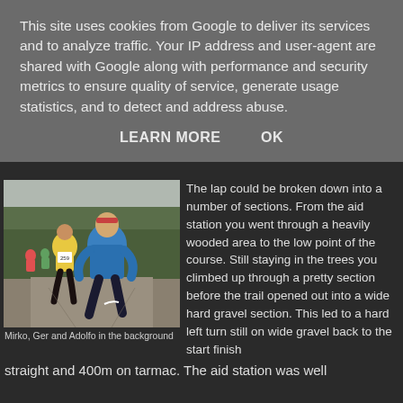This site uses cookies from Google to deliver its services and to analyze traffic. Your IP address and user-agent are shared with Google along with performance and security metrics to ensure quality of service, generate usage statistics, and to detect and address abuse.
LEARN MORE    OK
[Figure (photo): Outdoor running race photo showing runners on a gravel path through wooded area. A runner in blue jacket is in the foreground, a runner in yellow vest with bib number 259 is behind.]
Mirko, Ger and Adolfo in the background
The lap could be broken down into a number of sections. From the aid station you went through a heavily wooded area to the low point of the course. Still staying in the trees you climbed up through a pretty section before the trail opened out into a wide hard gravel section. This led to a hard left turn still on wide gravel back to the start finish straight and 400m on tarmac. The aid station was well